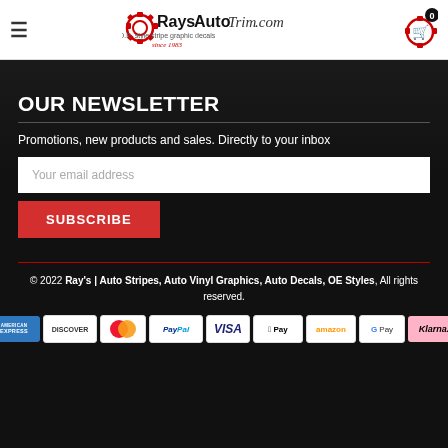RaysAutoTrim.com — O.E. style stripe graphic decals since 1983
OUR NEWSLETTER
Promotions, new products and sales. Directly to your inbox
Your email address
SUBSCRIBE
© 2022 Ray's | Auto Stripes, Auto Vinyl Graphics, Auto Decals, OE Styles, All rights reserved.
[Figure (other): Payment method icons: American Express, Discover, Mastercard, PayPal, VISA, Apple Pay, Amazon, G Pay, Klarna]